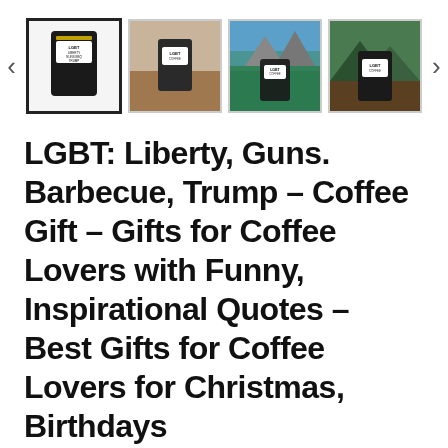[Figure (screenshot): Product image carousel with 4 thumbnails of a coffee bag product. First thumbnail is selected (active). Navigation arrows on left and right.]
LGBT: Liberty, Guns. Barbecue, Trump – Coffee Gift – Gifts for Coffee Lovers with Funny, Inspirational Quotes – Best Gifts for Coffee Lovers for Christmas, Birthdays